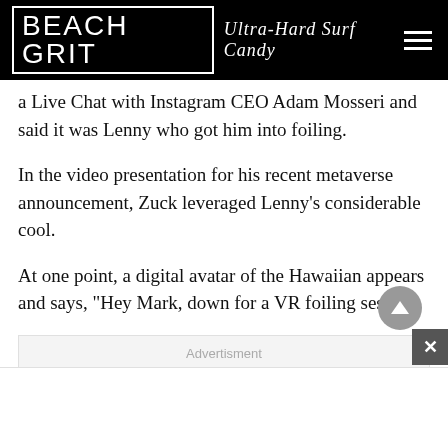BEACH GRIT Ultra-Hard Surf Candy
a Live Chat with Instagram CEO Adam Mosseri and said it was Lenny who got him into foiling.
In the video presentation for his recent metaverse announcement, Zuck leveraged Lenny’s considerable cool.
At one point, a digital avatar of the Hawaiian appears and says, “Hey Mark, down for a VR foiling sesh?”
[Figure (other): Advertisement placeholder box with gray background and 'Advertisment' label text. Back-to-top circular button visible at bottom right.]